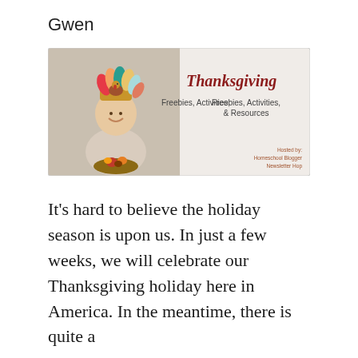Gwen
[Figure (illustration): Promotional banner image showing a smiling child wearing a colorful paper turkey hat and holding a basket of fall gourds and pumpkins. Right side of banner has text 'Thanksgiving Freebies, Activities, & Resources' in a festive red cursive and sans-serif font. Bottom right reads 'Hosted by: Homeschool Blogger Newsletter Hop'.]
It’s hard to believe the holiday season is upon us. In just a few weeks, we will celebrate our Thanksgiving holiday here in America. In the meantime, there is quite a